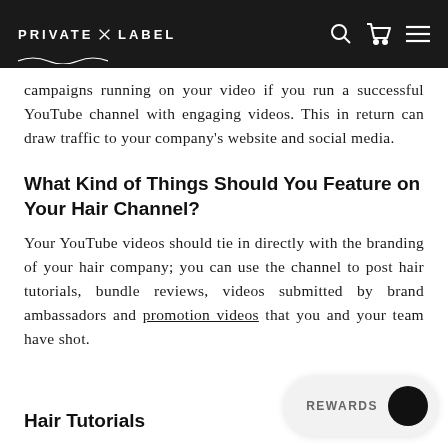PRIVATE X LABEL (navigation bar with search, cart, and menu icons)
campaigns running on your video if you run a successful YouTube channel with engaging videos. This in return can draw traffic to your company's website and social media.
What Kind of Things Should You Feature on Your Hair Channel?
Your YouTube videos should tie in directly with the branding of your hair company; you can use the channel to post hair tutorials, bundle reviews, videos submitted by brand ambassadors and promotion videos that you and your team have shot.
Hair Tutorials